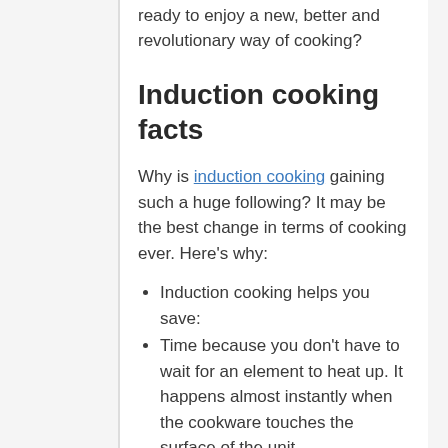ready to enjoy a new, better and revolutionary way of cooking?
Induction cooking facts
Why is induction cooking gaining such a huge following? It may be the best change in terms of cooking ever. Here's why:
Induction cooking helps you save:
Time because you don't have to wait for an element to heat up. It happens almost instantly when the cookware touches the surface of the unit.
Energy because less heat is lost and cooking time is shorter
Induction cooktops also come with many safety features so you're guaranteed to enjoy cooking more
You do have to remember these facts so